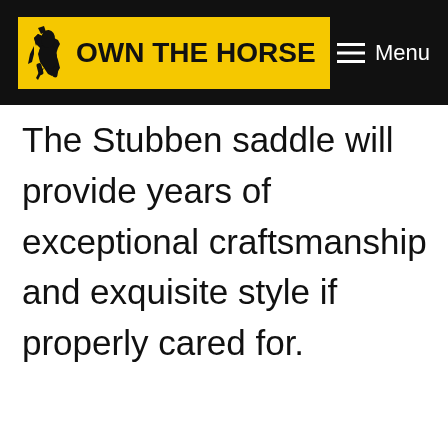OWN THE HORSE | Menu
The Stubben saddle will provide years of exceptional craftsmanship and exquisite style if properly cared for.